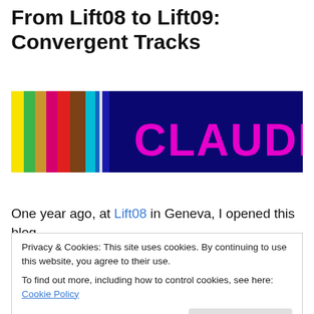From Lift08 to Lift09: Convergent Tracks
[Figure (illustration): Colorful vertical stripes on left side against a dark navy blue background, with large magenta/pink text reading 'CLAUDIA' and vertical text '40 ans' on the right side.]
One year ago, at Lift08 in Geneva, I opened this blog
Privacy & Cookies: This site uses cookies. By continuing to use this website, you agree to their use.
To find out more, including how to control cookies, see here: Cookie Policy
Close and accept